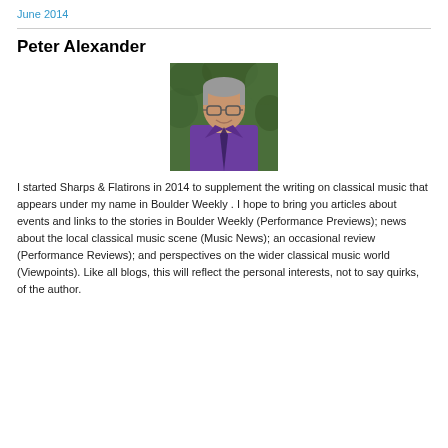June 2014
Peter Alexander
[Figure (photo): Portrait photo of Peter Alexander, a man wearing a purple shirt and tie, with grey hair and glasses, set against a green leafy background.]
I started Sharps & Flatirons in 2014 to supplement the writing on classical music that appears under my name in Boulder Weekly . I hope to bring you articles about events and links to the stories in Boulder Weekly (Performance Previews); news about the local classical music scene (Music News); an occasional review (Performance Reviews); and perspectives on the wider classical music world (Viewpoints). Like all blogs, this will reflect the personal interests, not to say quirks, of the author.